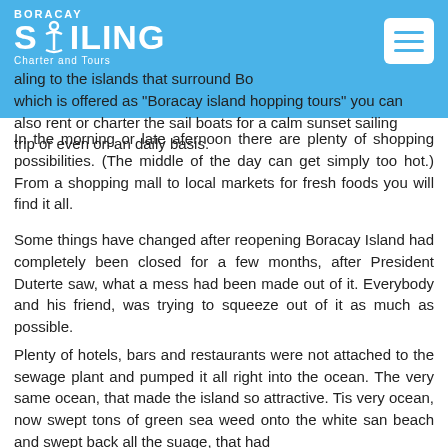Boracay Sailing Charter and Tours
aling to the islands that surround Bo... which is offered as "Boracay island hopping tours" you can also rent or charter the sail boats for a calm sunset sailing trip or even on an daily basis.
In the morning or late afernoon there are plenty of shopping possibilities. (The middle of the day can get simply too hot.) From a shopping mall to local markets for fresh foods you will find it all.
Some things have changed after reopening Boracay Island had completely been closed for a few months, after President Duterte saw, what a mess had been made out of it. Everybody and his friend, was trying to squeeze out of it as much as possible.
Plenty of hotels, bars and restaurants were not attached to the sewage plant and pumped it all right into the ocean. The very same ocean, that made the island so attractive. Tis very ocean, now swept tons of green sea weed onto the white san beach and swept back all the suage, that had